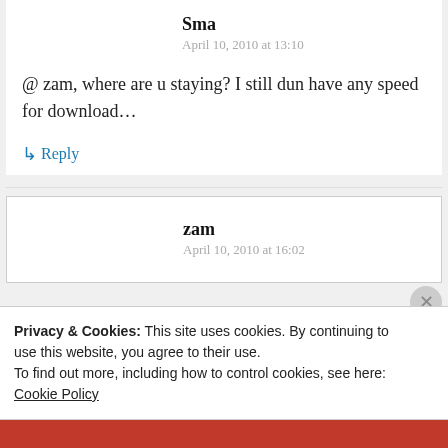Sma
April 10, 2010 at 13:10
@ zam, where are u staying? I still dun have any speed for download…
↳ Reply
zam
April 10, 2010 at 16:02
Privacy & Cookies: This site uses cookies. By continuing to use this website, you agree to their use. To find out more, including how to control cookies, see here: Cookie Policy
Close and accept